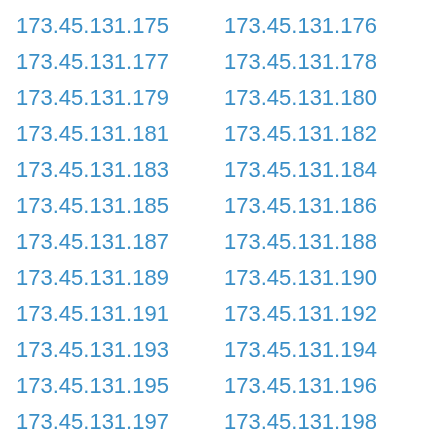173.45.131.175
173.45.131.176
173.45.131.177
173.45.131.178
173.45.131.179
173.45.131.180
173.45.131.181
173.45.131.182
173.45.131.183
173.45.131.184
173.45.131.185
173.45.131.186
173.45.131.187
173.45.131.188
173.45.131.189
173.45.131.190
173.45.131.191
173.45.131.192
173.45.131.193
173.45.131.194
173.45.131.195
173.45.131.196
173.45.131.197
173.45.131.198
173.45.131.199
173.45.131.200
173.45.131.201
173.45.131.202